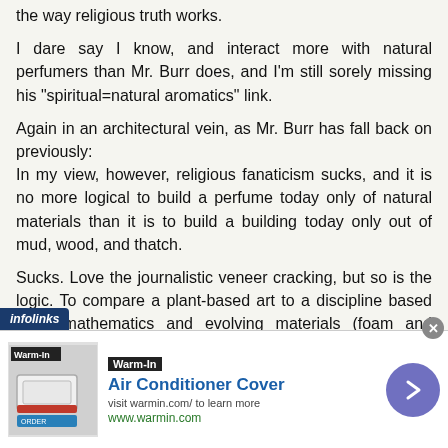the way religious truth works.
I dare say I know, and interact more with natural perfumers than Mr. Burr does, and I'm still sorely missing his "spiritual=natural aromatics" link.
Again in an architectural vein, as Mr. Burr has fall back on previously:
In my view, however, religious fanaticism sucks, and it is no more logical to build a perfume today only of natural materials than it is to build a building today only out of mud, wood, and thatch.
Sucks. Love the journalistic veneer cracking, but so is the logic. To compare a plant-based art to a discipline based upon mathematics and evolving materials (foam and concrete facades) is like comparing a silk blouse to a...
[Figure (other): Advertisement banner for Warm-In Air Conditioner Cover with infolinks badge, product image, ad text and arrow button]